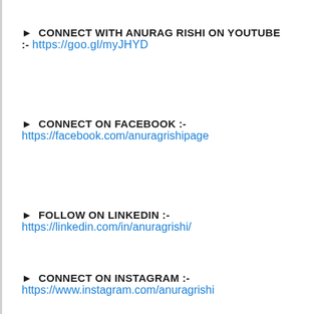► CONNECT WITH ANURAG RISHI ON YOUTUBE :- https://goo.gl/myJHYD
► CONNECT ON FACEBOOK :- https://facebook.com/anuragrishipage
► FOLLOW ON LINKEDIN :- https://linkedin.com/in/anuragrishi/
► CONNECT ON INSTAGRAM :- https://www.instagram.com/anuragrishi